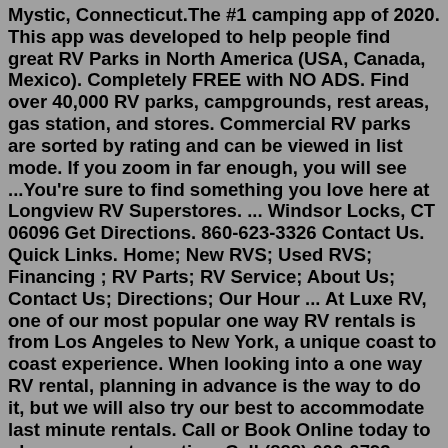Mystic, Connecticut.The #1 camping app of 2020. This app was developed to help people find great RV Parks in North America (USA, Canada, Mexico). Completely FREE with NO ADS. Find over 40,000 RV parks, campgrounds, rest areas, gas station, and stores. Commercial RV parks are sorted by rating and can be viewed in list mode. If you zoom in far enough, you will see ...You're sure to find something you love here at Longview RV Superstores. ... Windsor Locks, CT 06096 Get Directions. 860-623-3326 Contact Us. Quick Links. Home; New RVS; Used RVS; Financing ; RV Parts; RV Service; About Us; Contact Us; Directions; Our Hour ... At Luxe RV, one of our most popular one way RV rentals is from Los Angeles to New York, a unique coast to coast experience. When looking into a one way RV rental, planning in advance is the way to do it, but we will also try our best to accommodate last minute rentals. Call or Book Online today to plan your next vacation. Call (888) 600-0793 ...New RVs for Sale in Union, CT. Campers Inn RV of Union has Connecticut's best